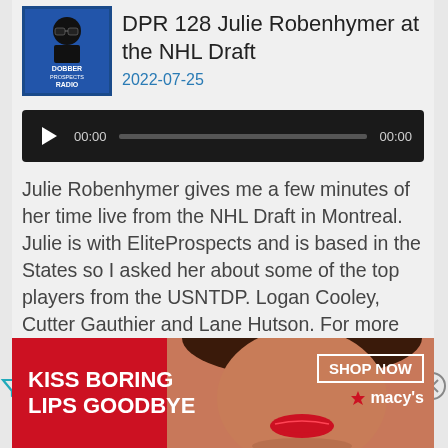[Figure (logo): Dobber Prospects Radio logo - black and white image of a man with sunglasses, text DOBBER PROSPECTS RADIO]
DPR 128 Julie Robenhymer at the NHL Draft
2022-07-25
[Figure (other): Audio player with play button, 00:00 time display, progress bar, and 00:00 duration]
Julie Robenhymer gives me a few minutes of her time live from the NHL Draft in Montreal. Julie is with EliteProspects and is based in the States so I asked her about some of the top players from the USNTDP. Logan Cooley, Cutter Gauthier and Lane Hutson. For more on USA players go back and [...]
[Figure (photo): Advertisement banner: KISS BORING LIPS GOODBYE with woman's face and red lips, SHOP NOW button, Macy's star logo]